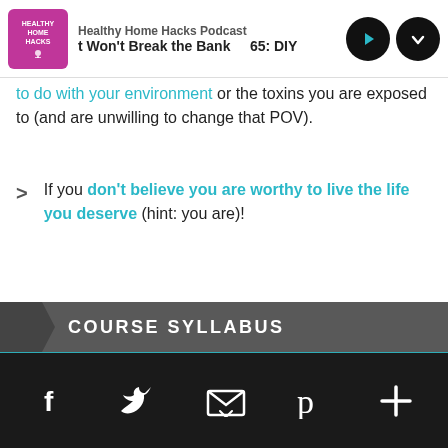Healthy Home Hacks Podcast | t Won't Break the Bank | 65: DIY
to do with your environment or the toxins you are exposed to (and are unwilling to change that POV).
If you don't believe you are worthy to live the life you deserve (hint: you are)!
COURSE SYLLABUS
WEEK 1
Chapter 1: Life in a Toxic Nest